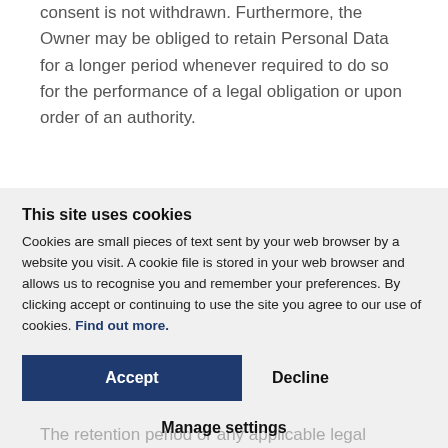consent is not withdrawn. Furthermore, the Owner may be obliged to retain Personal Data for a longer period whenever required to do so for the performance of a legal obligation or upon order of an authority.
This site uses cookies
Cookies are small pieces of text sent by your web browser by a website you visit. A cookie file is stored in your web browser and allows us to recognise you and remember your preferences. By clicking accept or continuing to use the site you agree to our use of cookies. Find out more.
Accept | Decline | Manage settings